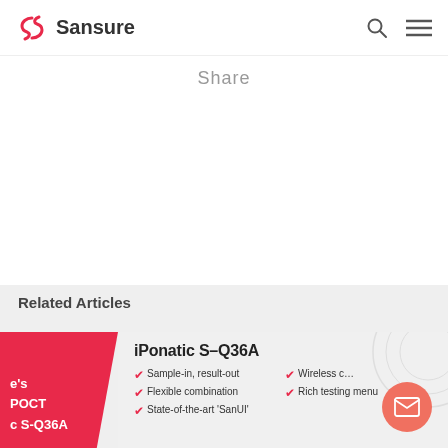Sansure
Share
Related Articles
[Figure (screenshot): Article card with red banner showing text "e's POCT c S-Q36A" and product info for iPonatic S-Q36A with feature bullets]
iPonatic S-Q36A
Sample-in, result-out
Flexible combination
State-of-the-art 'SanUI'
Wireless c...
Rich testing menu